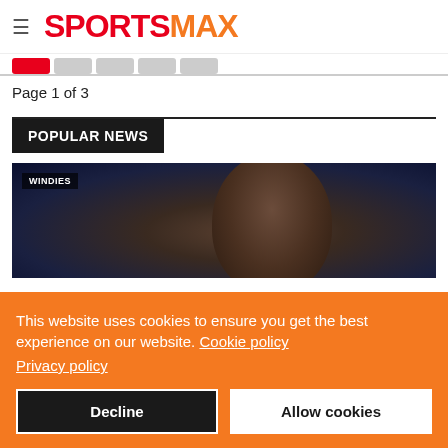SPORTSMAX
Page 1 of 3
POPULAR NEWS
[Figure (photo): Sports photo showing close-up of a person's face with WINDIES label badge]
This website uses cookies to ensure you get the best experience on our website. Cookie policy Privacy policy
Decline
Allow cookies